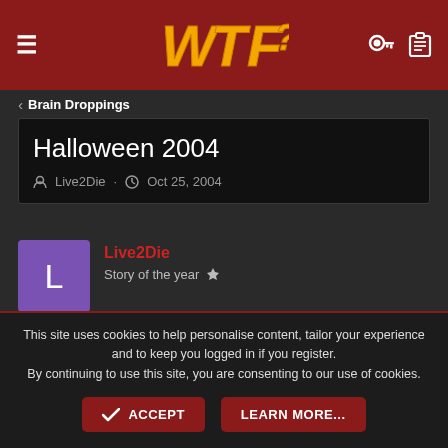WTF? (site header with hamburger menu, logo, key icon, clipboard icon)
< Brain Droppings
Halloween 2004
Live2Die · Oct 25, 2004
Live2Die
Story of the year
Oct 25, 2004
This site uses cookies to help personalise content, tailor your experience and to keep you logged in if you register.
By continuing to use this site, you are consenting to our use of cookies.
ACCEPT    LEARN MORE...